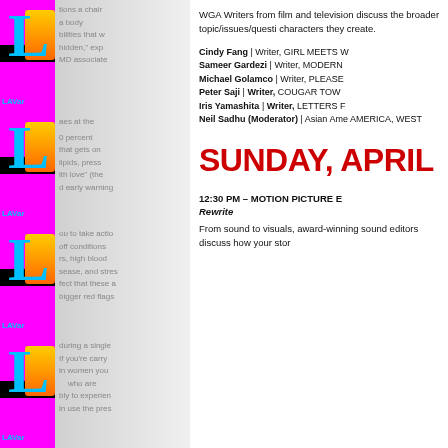[Figure (illustration): Left decorative column with repeated colorful magazine strip pattern featuring large 'L' letters in cyan on magenta/black backgrounds and 'LAVar' text labels, alongside a blurred gray text column]
WGA Writers from film and television discuss the broader topic/issues/questions characters they create.
Cindy Fang | Writer, GIRL MEETS W
Sameer Gardezi | Writer, MODERN
Michael Golamco | Writer, PLEASE
Peter Saji | Writer, COUGAR TOWN
Iris Yamashita | Writer, LETTERS F
Neil Sadhu (Moderator) | Asian Ame AMERICA, WEST
SUNDAY, APRIL
12:30 PM – MOTION PICTURE E Rewrite
From sound to visuals, award-winning sound editors discuss how your stor